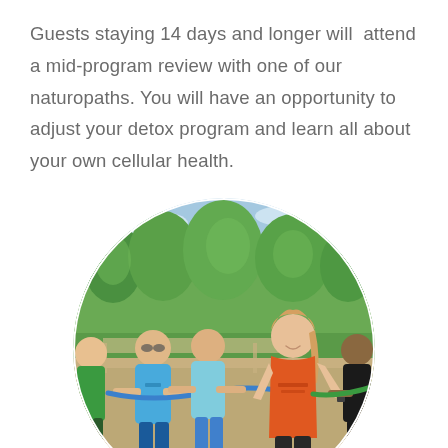Guests staying 14 days and longer will attend a mid-program review with one of our naturopaths. You will have an opportunity to adjust your detox program and learn all about your own cellular health.
[Figure (photo): Circular cropped photo of a group of women doing outdoor fitness exercises. The woman in the foreground wears an orange tank top with 'Extraordinary' text. Others wear blue and green athletic wear. Background shows green trees and blue sky.]